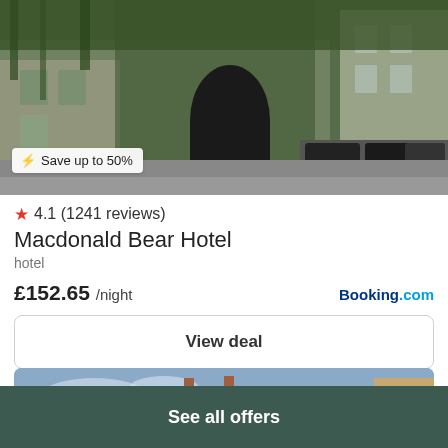[Figure (photo): Ivy-covered stone hotel building exterior with cars parked in front. Lightning bolt badge overlay reads: Save up to 50%]
4.1 (1241 reviews)
Macdonald Bear Hotel
hotel
£152.65 /night
Booking.com
View deal
[Figure (photo): Stone building facade with blue sky in background]
See all offers